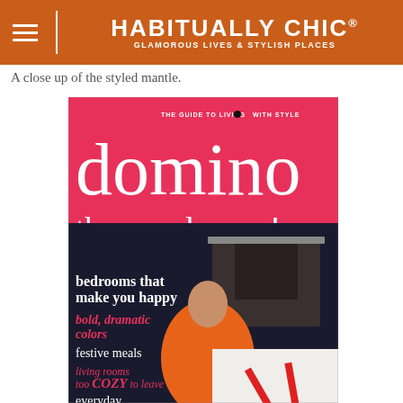HABITUALLY CHIC® GLAMOROUS LIVES & STYLISH PLACES
A close up of the styled mantle.
[Figure (photo): Cover of Domino magazine featuring a woman in an orange dress seated near a fireplace. Headlines include 'the new luxury!', 'bedrooms that make you happy', 'bold, dramatic colors', 'festive meals', 'living rooms too cozy to leave', 'everyday indulgences'.]